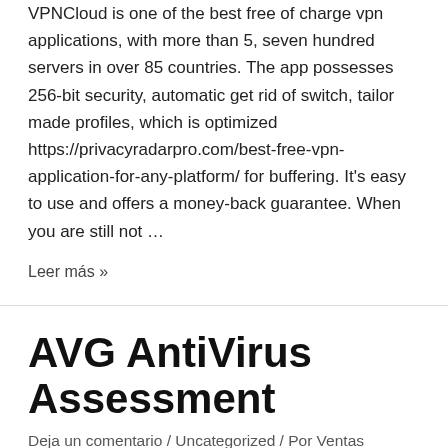VPNCloud is one of the best free of charge vpn applications, with more than 5, seven hundred servers in over 85 countries. The app possesses 256-bit security, automatic get rid of switch, tailor made profiles, which is optimized https://privacyradarpro.com/best-free-vpn-application-for-any-platform/ for buffering. It's easy to use and offers a money-back guarantee. When you are still not …
Leer más »
AVG AntiVirus Assessment
Deja un comentario / Uncategorized / Por Ventas Quickferr
AVG Anti-virus is a popular line of antivirus software program that was developed by AVG Technologies, a subsidiary of Avast. This program is available just for Home windows, macOS, and Android, along with iOS gadgets. You can read